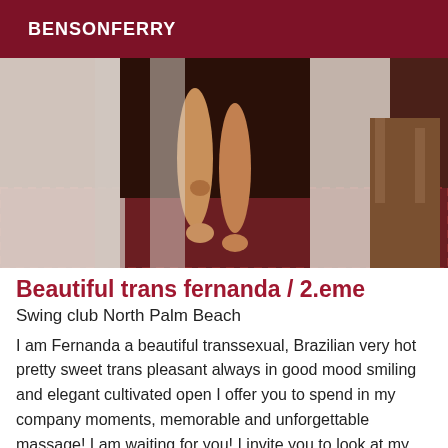BENSONFERRY
[Figure (photo): Photo showing a person's legs and feet standing between white curtains on a patterned rug, with a wooden chair visible on the right.]
Beautiful trans fernanda / 2.eme
Swing club North Palm Beach
I am Fernanda a beautiful transsexual, Brazilian very hot pretty sweet trans pleasant always in good mood smiling and elegant cultivated open I offer you to spend in my company moments, memorable and unforgettable massage! I am waiting for you! I invite you to look at my